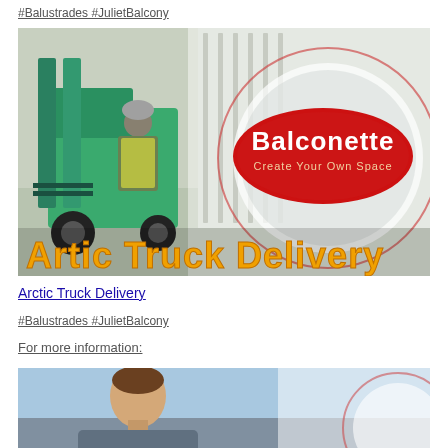#Balustrades #JulietBalcony
[Figure (photo): Photo of a green forklift truck with a worker in a yellow vest operating it near a fence/railing, overlaid with the Balconette logo (red oval with white text 'Balconette Create Your Own Space') and orange bold text 'Artic Truck Delivery' at the bottom]
Arctic Truck Delivery
#Balustrades #JulietBalcony
For more information:
[Figure (photo): Partial photo showing a man's head and upper body, appears to be outdoors, with a Balconette logo circle partially visible on the right side]